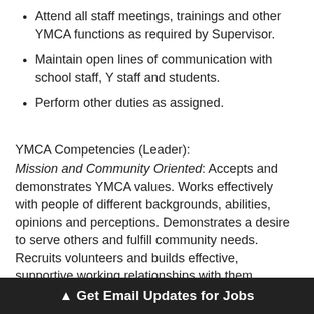Attend all staff meetings, trainings and other YMCA functions as required by Supervisor.
Maintain open lines of communication with school staff, Y staff and students.
Perform other duties as assigned.
YMCA Competencies (Leader): Mission and Community Oriented: Accepts and demonstrates YMCA values. Works effectively with people of different backgrounds, abilities, opinions and perceptions. Demonstrates a desire to serve others and fulfill community needs. Recruits volunteers and builds effective, supportive working relationships with them. People Oriented: Seeks first to understand the other person's point of view, and remains calm in challenging situations. Builds rapport and relates well to others. Listens for understanding and meaning; speaks and writes effectively. Takes initiative to assist in developing others. Results Oriented: Strives to meet or exceed goals and deliver a high-value experience for members. Embraces new approaches better member experience.
▲ Get Email Updates for Jobs